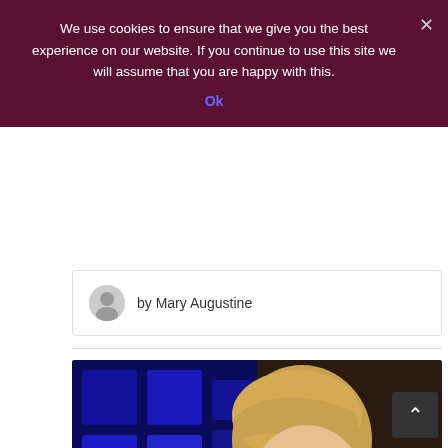We use cookies to ensure that we give you the best experience on our website. If you continue to use this site we will assume that you are happy with this.
Ok
by Mary Augustine
[Figure (photo): A young boy with blond hair wearing a black Puma hoodie, leaning over something, with blue-lit wall panels in the background.]